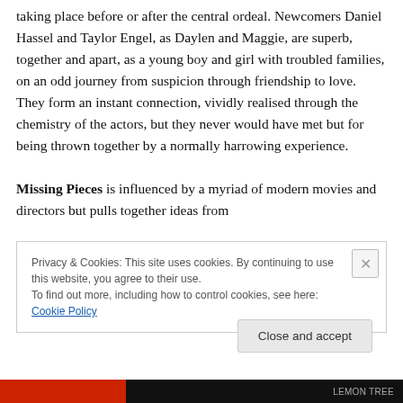taking place before or after the central ordeal. Newcomers Daniel Hassel and Taylor Engel, as Daylen and Maggie, are superb, together and apart, as a young boy and girl with troubled families, on an odd journey from suspicion through friendship to love. They form an instant connection, vividly realised through the chemistry of the actors, but they never would have met but for being thrown together by a normally harrowing experience.

Missing Pieces is influenced by a myriad of modern movies and directors but pulls together ideas from
Privacy & Cookies: This site uses cookies. By continuing to use this website, you agree to their use.
To find out more, including how to control cookies, see here: Cookie Policy
Close and accept